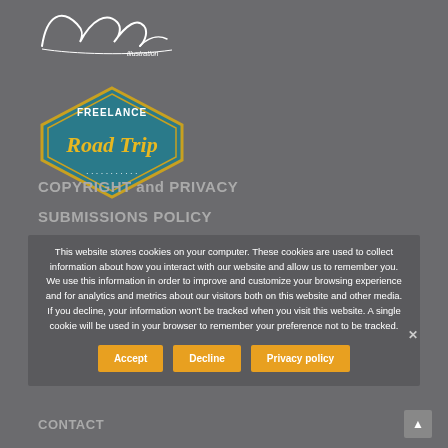[Figure (logo): Avalyn Illustration cursive signature logo in white on gray background]
[Figure (logo): Freelance Road Trip badge logo with yellow script text on teal/blue diamond shape]
COPYRIGHT and PRIVACY
SUBMISSIONS POLICY
Avalyn Creative LLC supports organizations serving military veterans, humanitarian aid, and canine rescue. A percentage of proceeds from select products benefits these causes.
This website stores cookies on your computer. These cookies are used to collect information about how you interact with our website and allow us to remember you. We use this information in order to improve and customize your browsing experience and for analytics and metrics about our visitors both on this website and other media. If you decline, your information won't be tracked when you visit this website. A single cookie will be used in your browser to remember your preference not to be tracked.
Accept | Decline | Privacy policy
CONTACT